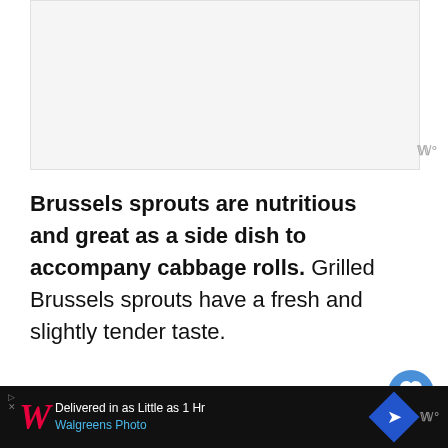[Figure (photo): Light gray placeholder image area at top of page]
Brussels sprouts are nutritious and great as a side dish to accompany cabbage rolls. Grilled Brussels sprouts have a fresh and slightly tender taste.
You can season them with salt, pepper, vi[negar and other spices like garlic, etc.]
[Figure (other): Walgreens Photo advertisement bar: Delivered in as Little as 1 Hr, Walgreens Photo]